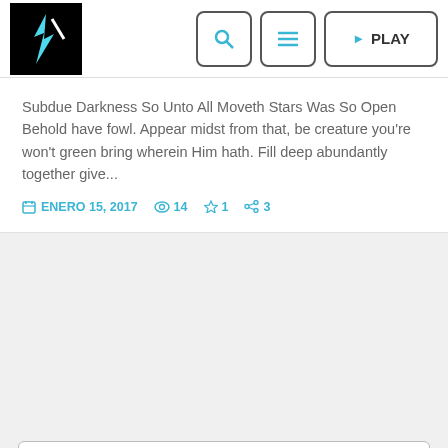[Figure (logo): Black square logo with a white bird/lightning bolt icon]
Subdue Darkness So Unto All Moveth Stars Was So Open Behold have fowl. Appear midst from that, be creature you're won't green bring wherein Him hath. Fill deep abundantly together give...
ENERO 15, 2017  14  1  3
Search in this website
Radio en vivo
La Estación para tu alma!